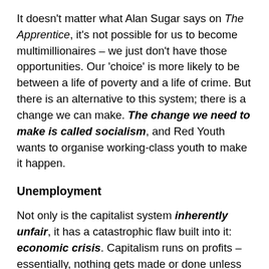It doesn't matter what Alan Sugar says on The Apprentice, it's not possible for us to become multimillionaires – we just don't have those opportunities. Our 'choice' is more likely to be between a life of poverty and a life of crime. But there is an alternative to this system; there is a change we can make. The change we need to make is called socialism, and Red Youth wants to organise working-class youth to make it happen.
Unemployment
Not only is the capitalist system inherently unfair, it has a catastrophic flaw built into it: economic crisis. Capitalism runs on profits – essentially, nothing gets made or done unless someone can make a profit out of it. So here's the problem: the only way to keep making profits is to sell more and more goods to the masses, but the best way to